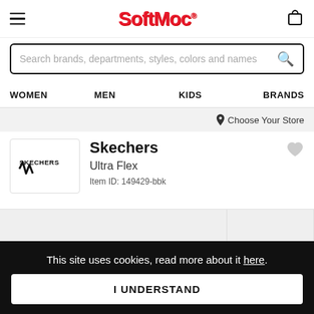SoftMoc
Search brands, departments, styles, colors and names
WOMEN   MEN   KIDS   BRANDS
Choose Your Store
Skechers
Ultra Flex
Item ID: 149429-bbk
This site uses cookies, read more about it here.
I UNDERSTAND